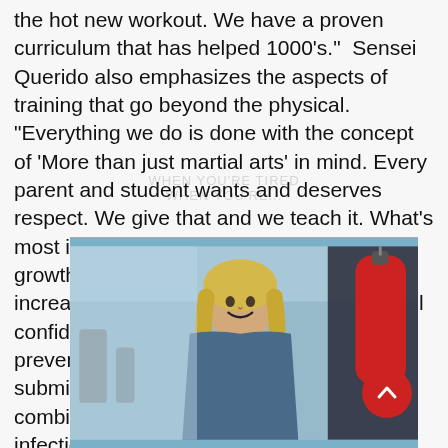the hot new workout. We have a proven curriculum that has helped 1000’s.”  Sensei Querido also emphasizes the aspects of training that go beyond the physical. “Everything we do is done with the concept of ‘More than just martial arts’ in mind. Every parent and student wants and deserves respect. We give that and we teach it. What’s most important to Sensei Querido is the growth of his students, especially their increased self-confidence. “We help to instill confidence in all our students. This helps to prevent them from being bullied or submitting to peer pressure.” His combination of positivity and high energy is infectious. “I love what I do and I am passionate about doing it!”
[Figure (photo): A smiling blonde woman in a gym or martial arts studio setting, with a red punching bag visible on the right side of the image.]